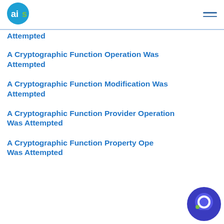AIS logo and navigation
A Cryptographic Function Operation Was Attempted
A Cryptographic Function Operation Was Attempted
A Cryptographic Function Modification Was Attempted
A Cryptographic Function Provider Operation Was Attempted
A Cryptographic Function Property Operation Was Attempted